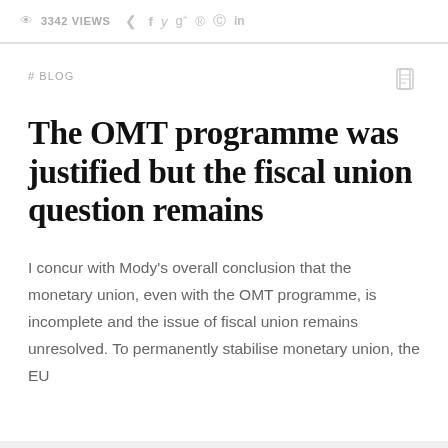👁 3342 VIEWS  < f y g+ ⊕ ⓢ in
# BLOG
The OMT programme was justified but the fiscal union question remains
I concur with Mody's overall conclusion that the monetary union, even with the OMT programme, is incomplete and the issue of fiscal union remains unresolved. To permanently stabilise monetary union, the EU